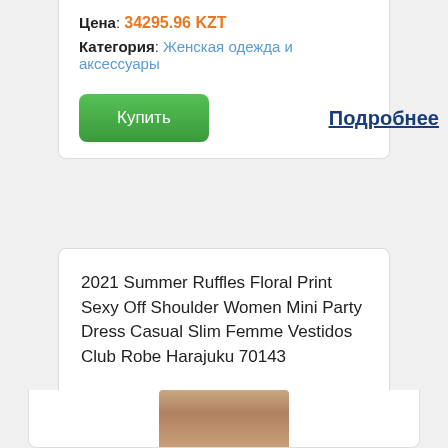Цена: 34295.96 KZT
Категория: Женская одежда и аксессуары
Купить
Подробнее
2021 Summer Ruffles Floral Print Sexy Off Shoulder Women Mini Party Dress Casual Slim Femme Vestidos Club Robe Harajuku 70143
[Figure (photo): Product image of a dress, partially visible at the bottom of the page]